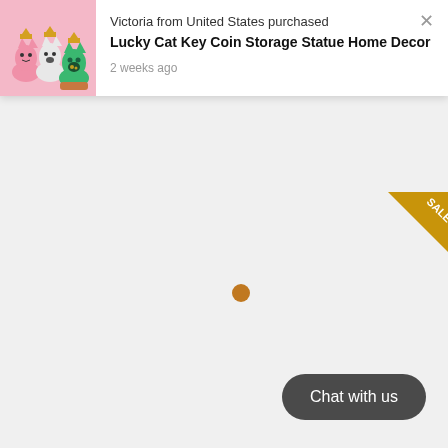[Figure (screenshot): E-commerce purchase notification popup showing three lucky cat figurines (pink, white, green) against a pink background. Notification reads: Victoria from United States purchased Lucky Cat Key Coin Storage Statue Home Decor, 2 weeks ago. A close X button is in the top right. The main page content area is a light gray with a golden/bronze loading dot in the center. A 'SALE' ribbon is in the top right corner. A dark rounded 'Chat with us' button appears at the bottom right.]